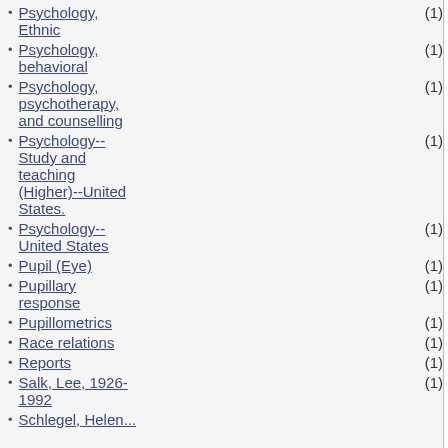Psychology, Ethnic (1)
Psychology, behavioral (1)
Psychology, psychotherapy, and counselling (1)
Psychology--Study and teaching (Higher)--United States. (1)
Psychology--United States (1)
Pupil (Eye) (1)
Pupillary response (1)
Pupillometrics (1)
Race relations (1)
Reports (1)
Salk, Lee, 1926-1992 (1)
Schlegel, Helen... (1)
1934 | This psychology | Psychology American | Psychology History | Psychology History - century | Psychology United States | Psychology | Psychology Teaching | Psychology Sensory evaluation | Psychology Experimental | Manuscripts | Manuscripts American | Find more this
Similar: Find more this